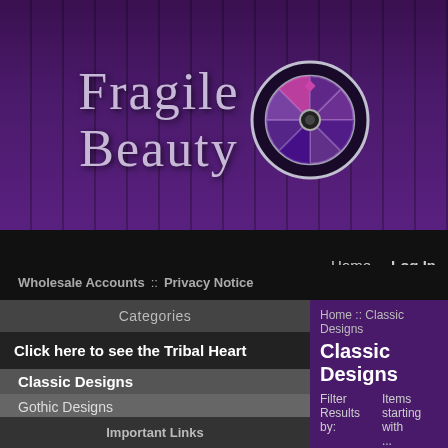[Figure (logo): Fragile Beauty website header banner with ornate gothic text logo and decorative stained glass circle medallion on purple striped background]
Home   Log In
Wholesale Accounts ::  Privacy Notice
Categories
Click here to see the Tribal Heart
Classic Designs
Gothic Designs
Horror Designs
Custom Designs
Judaica Designs
Jewelry
New Products ...
Featured Products ...
All Products ...
Important Links
Home :: Classic Designs
Classic Designs
Filter Results by:   Items starting with ...
Items starting with ...
add selected products to cart
Displaying 21 to 30 (of 35 Products)
« Prev  1  2  3  4  [Next »]
| Product Image | Item Name- | Price |
| --- | --- | --- |
|  | Lily Fairy ... |  |